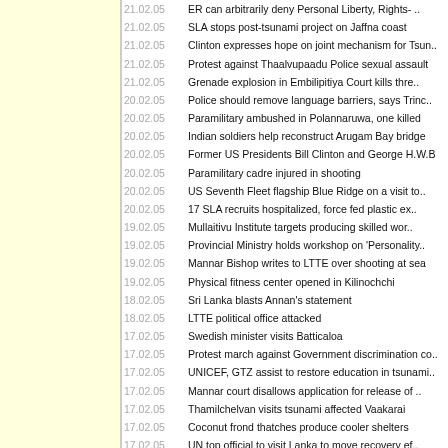21.02.05 — ER can arbitrarily deny Personal Liberty, Rights- ..
21.02.05 — SLA stops post-tsunami project on Jaffna coast
21.02.05 — Clinton expresses hope on joint mechanism for Tsun..
21.02.05 — Protest against Thaalvupaadu Police sexual assault
21.02.05 — Grenade explosion in Embilipitiya Court kills thre..
20.02.05 — Police should remove language barriers, says Trinc..
20.02.05 — Paramilitary ambushed in Polannaruwa, one killed
20.02.05 — Indian soldiers help reconstruct Arugam Bay bridge
20.02.05 — Former US Presidents Bill Clinton and George H.W.B
20.02.05 — Paramilitary cadre injured in shooting
20.02.05 — US Seventh Fleet flagship Blue Ridge on a visit to..
20.02.05 — 17 SLA recruits hospitalized, force fed plastic ex..
19.02.05 — Mullaitivu Institute targets producing skilled wor..
19.02.05 — Provincial Ministry holds workshop on 'Personality..
19.02.05 — Mannar Bishop writes to LTTE over shooting at sea
19.02.05 — Physical fitness center opened in Kilinochchi
18.02.05 — Sri Lanka blasts Annan's statement
18.02.05 — LTTE political office attacked
17.02.05 — Swedish minister visits Batticaloa
17.02.05 — Protest march against Government discrimination co..
17.02.05 — UNICEF, GTZ assist to restore education in tsunami..
17.02.05 — Mannar court disallows application for release of ..
17.02.05 — Thamilchelvan visits tsunami affected Vaakarai
17.02.05 — Coconut frond thatches produce cooler shelters
17.02.05 — UN top official to visit Lanka to move recovery ef..
17.02.05 — NEHRP increases housing grant to conflict affected..